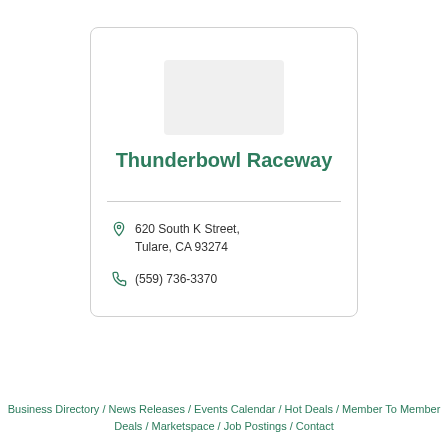Thunderbowl Raceway
620 South K Street, Tulare, CA 93274
(559) 736-3370
Business Directory / News Releases / Events Calendar / Hot Deals / Member To Member Deals / Marketspace / Job Postings / Contact